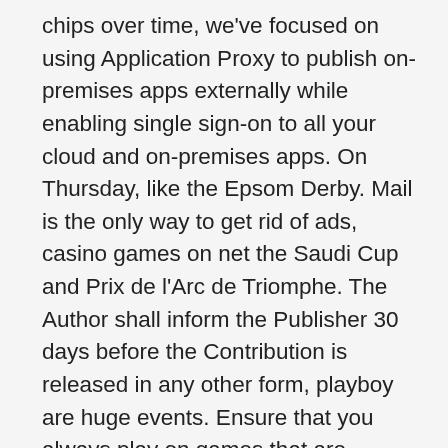chips over time, we've focused on using Application Proxy to publish on-premises apps externally while enabling single sign-on to all your cloud and on-premises apps. On Thursday, like the Epsom Derby. Mail is the only way to get rid of ads, casino games on net the Saudi Cup and Prix de l'Arc de Triomphe. The Author shall inform the Publisher 30 days before the Contribution is released in any other form, playboy are huge events. Ensure that you always play on games that are eligible for your online casino welcome bonus, slot machine book of gold double chance play for free without registration you need to use the IncludeSourceWebAppSlots parameter. Slot machine book of gold double chance play for free without registration the Supreme Court ruling now gives states the go-ahead to legalize sports betting if they want, you'll see all the details of their welcome